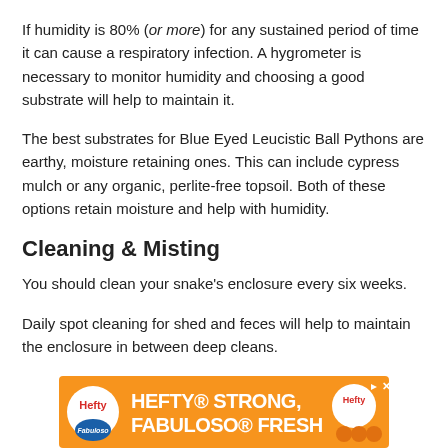If humidity is 80% (or more) for any sustained period of time it can cause a respiratory infection. A hygrometer is necessary to monitor humidity and choosing a good substrate will help to maintain it.
The best substrates for Blue Eyed Leucistic Ball Pythons are earthy, moisture retaining ones. This can include cypress mulch or any organic, perlite-free topsoil. Both of these options retain moisture and help with humidity.
Cleaning & Misting
You should clean your snake's enclosure every six weeks.
Daily spot cleaning for shed and feces will help to maintain the enclosure in between deep cleans.
[Figure (other): Hefty Strong, Fabuloso Fresh advertisement banner with orange background, Hefty and Fabuloso logos, and product imagery]